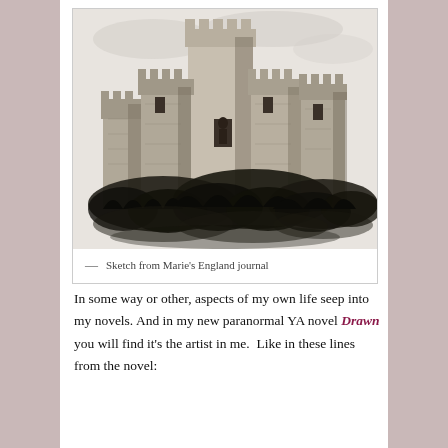[Figure (illustration): Pencil sketch of a ruined medieval castle with multiple towers, figure visible in doorway, surrounded by dense dark foliage at the base. Black and white drawing.]
— Sketch from Marie's England journal
In some way or other, aspects of my own life seep into my novels. And in my new paranormal YA novel Drawn you will find it's the artist in me.  Like in these lines from the novel: